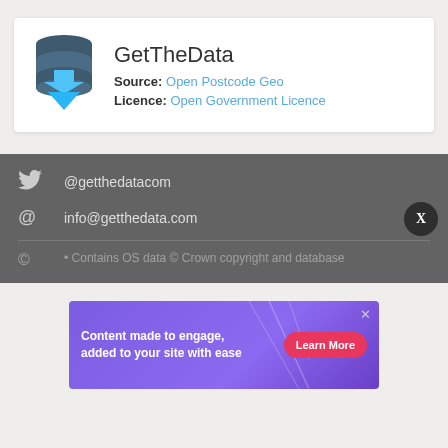[Figure (logo): GetTheData logo: stacked dark database cylinders with a blue downward arrow]
GetTheData
Source: Open Postcode Geo
Licence: Open Government Licence
@getthedatacom
info@getthedata.com
Contains OS data © Crown copyright and database
[Figure (infographic): Advertisement banner: purple gradient background with text 'Content made to engage, added to your site with ease' and a red 'Learn More' button]